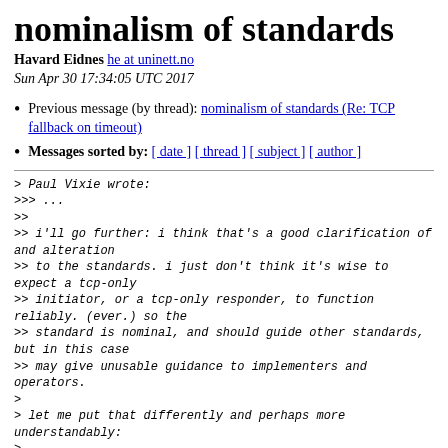nominalism of standards
Havard Eidnes he at uninett.no
Sun Apr 30 17:34:05 UTC 2017
Previous message (by thread): nominalism of standards (Re: TCP fallback on timeout)
Messages sorted by: [ date ] [ thread ] [ subject ] [ author ]
> Paul Vixie wrote:
>>> ...
>>
>> i'll go further: i think that's a good clarification of and alteration
>> to the standards. i just don't think it's wise to expect a tcp-only
>> initiator, or a tcp-only responder, to function reliably. (ever.) so the
>> standard is nominal, and should guide other standards, but in this case
>> may give unusable guidance to implementers and operators.
>
> let me put that differently and perhaps more understandably:
>